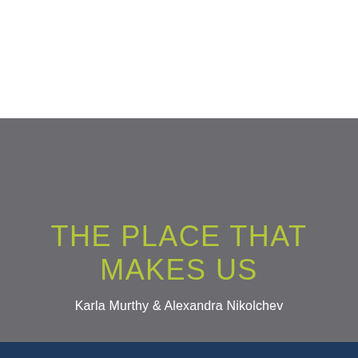THE PLACE THAT MAKES US
Karla Murthy & Alexandra Nikolchev